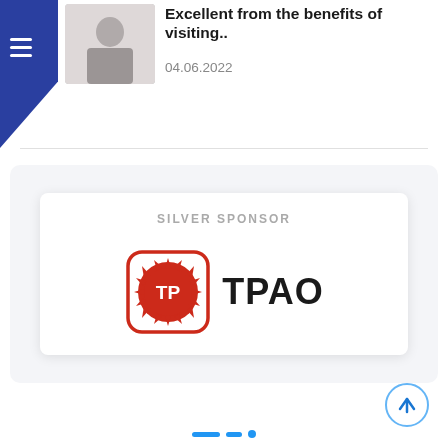Excellent from the benefits of visiting..
04.06.2022
[Figure (photo): Thumbnail photo of a man at an exhibition or trade show]
[Figure (logo): TPAO logo - red rounded square with sunburst icon and TP letters in white, next to bold TPAO text. Labeled as SILVER SPONSOR.]
SILVER SPONSOR